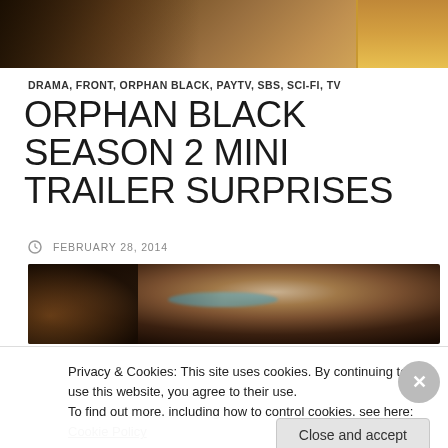[Figure (photo): Dark cinematic top banner image with warm amber/brown tones, partially visible figures]
DRAMA, FRONT, ORPHAN BLACK, PAYTV, SBS, SCI-FI, TV
ORPHAN BLACK SEASON 2 MINI TRAILER SURPRISES
FEBRUARY 28, 2014
[Figure (photo): Close-up cinematic photo of a blonde woman with blue/teal eyes peering just above frame level, dark and moody lighting with warm bokeh background]
Privacy & Cookies: This site uses cookies. By continuing to use this website, you agree to their use.
To find out more, including how to control cookies, see here: Cookie Policy
Close and accept